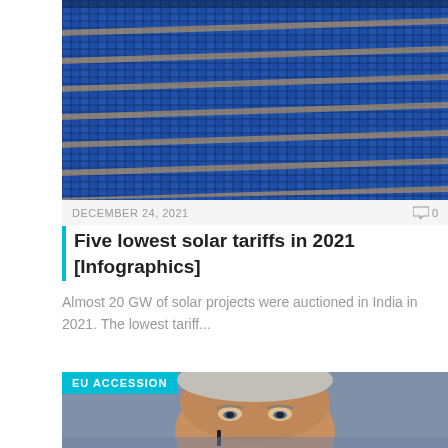[Figure (photo): Aerial view of a large solar panel farm with rows of blue photovoltaic panels arranged in a grid pattern]
DECEMBER 24, 2021
0
Five lowest solar tariffs in 2021 [Infographics]
Almost 20 GW of solar projects were auctioned in India in 2021. The lowest tariff...
[Figure (photo): Close-up photo of a man's face (politician) with EU ACCESSION label overlay]
EU ACCESSION